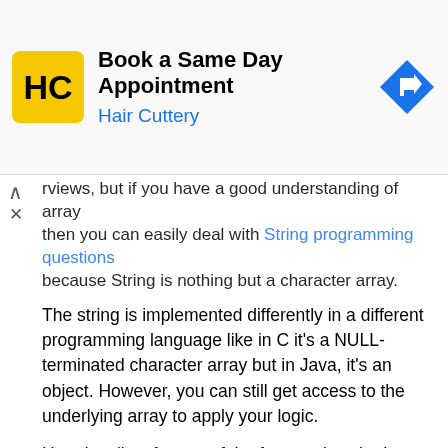[Figure (other): Advertisement banner for Hair Cuttery - Book a Same Day Appointment]
rviews, but if you have a good understanding of array then you can easily deal with String programming questions because String is nothing but a character array.
The string is implemented differently in a different programming language like in C it's a NULL-terminated character array but in Java, it's an object. However, you can still get access to the underlying array to apply your logic.
Here is a list of some of the frequently asked coding questions which are based on String. Though some of them are quite old, you can still expect this in your programming job interview:
11. How to Print duplicate characters from String? (solution)
12. How to check if two Strings are anagrams of each other?